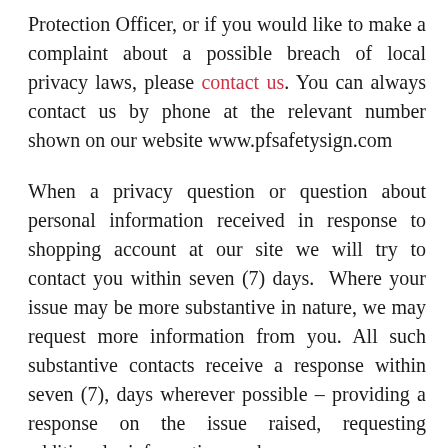Protection Officer, or if you would like to make a complaint about a possible breach of local privacy laws, please contact us. You can always contact us by phone at the relevant number shown on our website www.pfsafetysign.com
When a privacy question or question about personal information received in response to shopping account at our site we will try to contact you within seven (7) days.  Where your issue may be more substantive in nature, we may request more information from you. All such substantive contacts receive a response within seven (7), days wherever possible – providing a response on the issue raised, requesting additional information where necessary or indicating that a response will require additional time. You may at any time refer your complaint to the relevant regulator in your jurisdiction if you are unsatisfied with a reply received from us. If you ask us, we will endeavor to